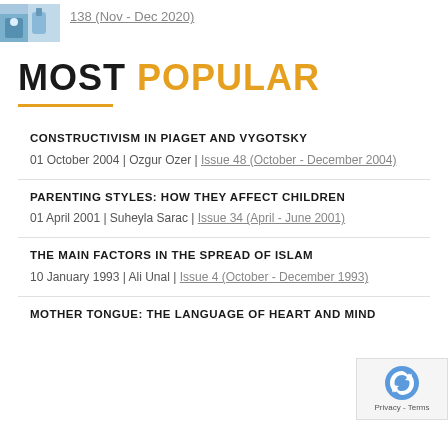[Figure (photo): Blue-gloved hands holding vaccine vials]
138 (Nov - Dec 2020)
MOST POPULAR
CONSTRUCTIVISM IN PIAGET AND VYGOTSKY
01 October 2004 | Ozgur Ozer | Issue 48 (October - December 2004)
PARENTING STYLES: HOW THEY AFFECT CHILDREN
01 April 2001 | Suheyla Sarac | Issue 34 (April - June 2001)
THE MAIN FACTORS IN THE SPREAD OF ISLAM
10 January 1993 | Ali Unal | Issue 4 (October - December 1993)
MOTHER TONGUE: THE LANGUAGE OF HEART AND MIND